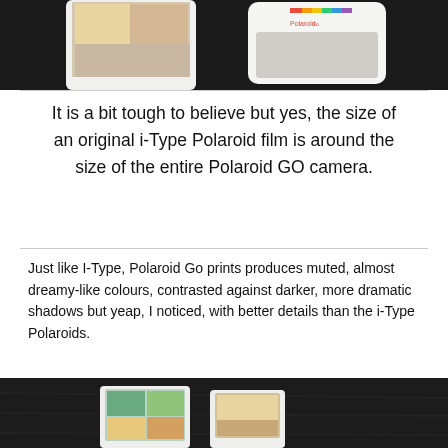[Figure (photo): Top portion of a photo showing two Polaroid film prints/camera on a dark surface, partially cropped]
It is a bit tough to believe but yes, the size of an original i-Type Polaroid film is around the size of the entire Polaroid GO camera.
Just like I-Type, Polaroid Go prints produces muted, almost dreamy-like colours, contrasted against darker, more dramatic shadows but yeap, I noticed, with better details than the i-Type Polaroids.
[Figure (photo): Bottom portion of a photo showing two Polaroid prints on a dark wooden surface, partially cropped]